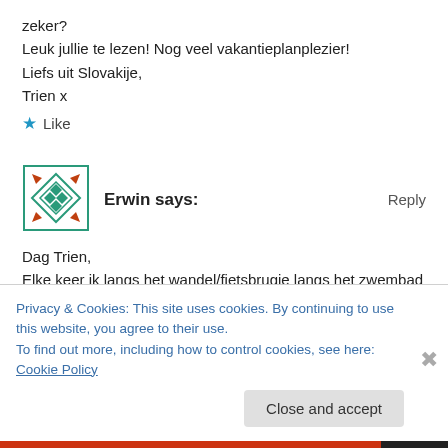zeker?
Leuk jullie te lezen! Nog veel vakantieplanplezier!
Liefs uit Slovakije,
Trien x
★ Like
Erwin says:
Reply
Dag Trien,
Elke keer ik langs het wandel/fietsbrugje langs het zwembad
Van Eyck fiets en zo jouw straat/huis passeer denk ik "Hoe
Privacy & Cookies: This site uses cookies. By continuing to use this website, you agree to their use.
To find out more, including how to control cookies, see here: Cookie Policy
Close and accept